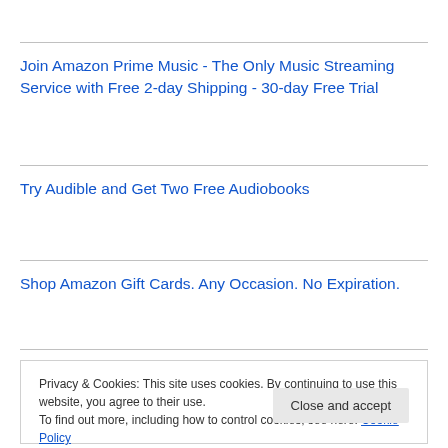Join Amazon Prime Music - The Only Music Streaming Service with Free 2-day Shipping - 30-day Free Trial
Try Audible and Get Two Free Audiobooks
Shop Amazon Gift Cards. Any Occasion. No Expiration.
Privacy & Cookies: This site uses cookies. By continuing to use this website, you agree to their use.
To find out more, including how to control cookies, see here: Cookie Policy
Close and accept